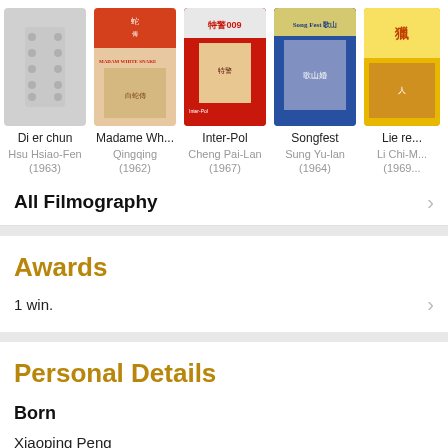[Figure (screenshot): Horizontal filmography strip showing 5 movie posters with titles, directors, and years: Di er chun (Hsu Hsiao-Fen, 1963), Madame Wh... (Qingqing, 1962), Inter-Pol (Cheng Pai-Lan, 1967), Songfest (Sung Yu-lan, 1964), Lie re... (Li Chi-M..., 1969)]
All Filmography
Awards
1 win.
Personal Details
Born
Xiaoping Peng
1942
Chengdu, Sichuan, China